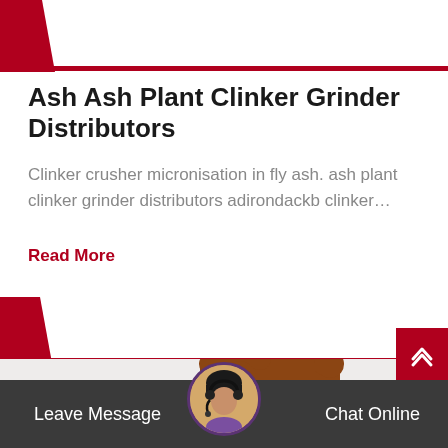[Figure (screenshot): Top card area with dark red diagonal left bar and horizontal red bottom border]
Ash Ash Plant Clinker Grinder Distributors
Clinker crusher micronisation in fly ash. ash plant clinker grinder distributors adirondackb clinker…
Read More
[Figure (photo): Second card area with dark red diagonal bar and industrial dust collector/cyclone machinery photo below]
Leave Message   Chat Online